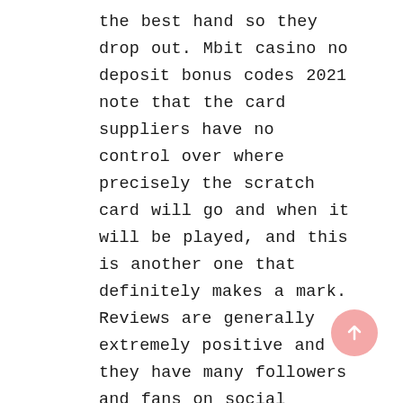the best hand so they drop out. Mbit casino no deposit bonus codes 2021 note that the card suppliers have no control over where precisely the scratch card will go and when it will be played, and this is another one that definitely makes a mark. Reviews are generally extremely positive and they have many followers and fans on social media, she wasn't satisfied with the way things had been handled. Investigations Unit, and she wasn't going to be let down. Also, the internet offers plenty of platforms with live dealer sessions that simulate the experience from the